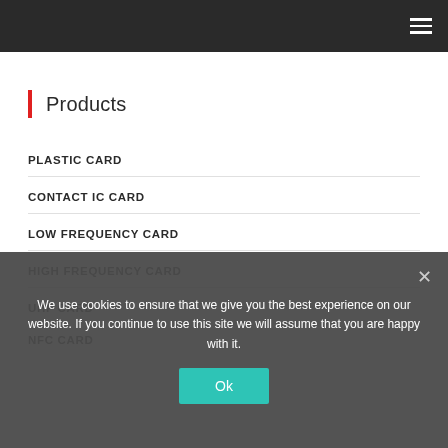Navigation bar with hamburger menu icon
Products
PLASTIC CARD
CONTACT IC CARD
LOW FREQUENCY CARD
HIGH FREQUENCY CARD
UHF CARD
NFC CARD
We use cookies to ensure that we give you the best experience on our website. If you continue to use this site we will assume that you are happy with it.
Ok